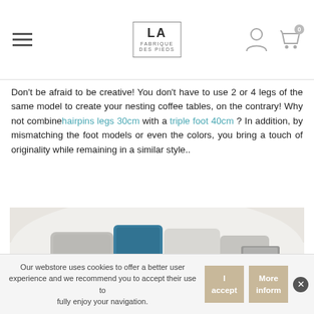LA FABRIQUE DES PIEDS — navigation header with hamburger menu, logo, user icon, cart icon
Don't be afraid to be creative! You don't have to use 2 or 4 legs of the same model to create your nesting coffee tables, on the contrary! Why not combine hairpins legs 30cm with a triple foot 40cm ? In addition, by mismatching the foot models or even the colors, you bring a touch of originality while remaining in a similar style..
[Figure (photo): Interior lifestyle photo showing two nesting coffee tables with hairpin legs on a white fluffy rug in front of a white sofa with grey, black and teal cushions]
Our webstore uses cookies to offer a better user experience and we recommend you to accept their use to fully enjoy your navigation.